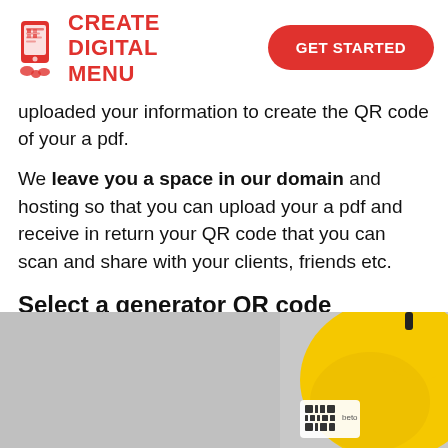CREATE DIGITAL MENU | GET STARTED
uploaded your information to create the QR code of your a pdf.
We leave you a space in our domain and hosting so that you can upload your a pdf and receive in return your QR code that you can scan and share with your clients, friends etc.
Select a generator QR code
[Figure (photo): Photo of a yellow object (possibly a measuring tape or tool) with a QR code label on it, against a grey background]